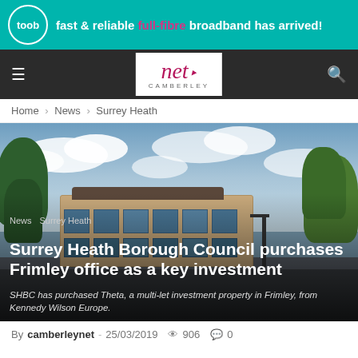[Figure (infographic): Teal advertisement banner: toob logo (circle with toob text) followed by text 'fast & reliable full-fibre broadband has arrived!' with 'full-fibre' highlighted in pink/magenta]
[Figure (screenshot): Dark navigation bar with hamburger menu on left, Net Camberley logo in center, search icon on right]
Home › News › Surrey Heath
[Figure (photo): Aerial/elevated photo of a modern brick office building (Theta, Frimley) with car park, trees, and cloudy sky. Overlay text includes article title and tags.]
Surrey Heath Borough Council purchases Frimley office as a key investment
SHBC has purchased Theta, a multi-let investment property in Frimley, from Kennedy Wilson Europe.
By camberleynet - 25/03/2019  906  0